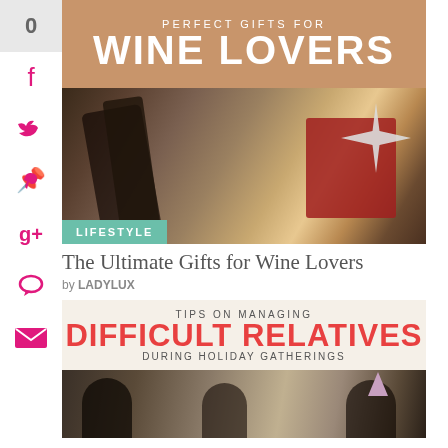[Figure (infographic): Wine bottle with gift decorations on a tan/brown background with header text 'PERFECT GIFTS FOR WINE LOVERS']
LIFESTYLE
The Ultimate Gifts for Wine Lovers
by LADYLUX
[Figure (infographic): Holiday party gathering photo with text overlay: 'TIPS ON MANAGING DIFFICULT RELATIVES DURING HOLIDAY GATHERINGS']